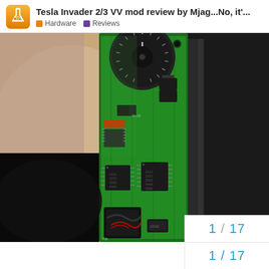Tesla Invader 2/3 VV mod review by Mjag...No, it'... | Hardware | Reviews
[Figure (photo): Close-up photograph of a green circuit board (PCB) with various electronic components including IC chips, inductors/transformers, capacitors, and a black rotary dial/knob at the top. The board is partially enclosed in a black plastic casing visible on the right side. Background shows a blurred warm-toned surface.]
1 / 17